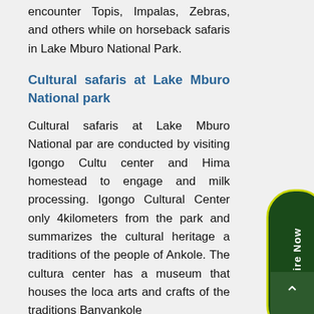encounter Topis, Impalas, Zebras, and others while on horseback safaris in Lake Mburo National Park.
Cultural safaris at Lake Mburo National park
Cultural safaris at Lake Mburo National park are conducted by visiting Igongo Cultural center and Hima homestead to engage and milk processing. Igongo Cultural Center only 4kilometers from the park and summarizes the cultural heritage and traditions of the people of Ankole. The cultural center has a museum that houses the local arts and crafts of the traditions Banyankole